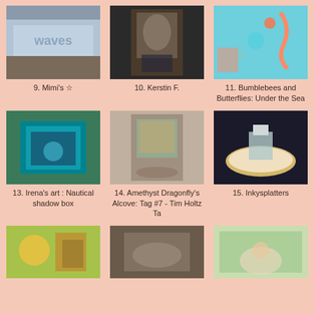[Figure (photo): Craft artwork item 9 - Mimi's]
9. Mimi's ☆
[Figure (photo): Craft artwork item 10 - Kerstin F.]
10. Kerstin F.
[Figure (photo): Craft artwork item 11 - Bumblebees and Butterflies: Under the Sea]
11. Bumblebees and Butterflies: Under the Sea
[Figure (photo): Craft artwork item 13 - Irena's art: Nautical shadow box]
13. Irena's art : Nautical shadow box
[Figure (photo): Craft artwork item 14 - Amethyst Dragonfly's Alcove: Tag #7 - Tim Holtz Ta]
14. Amethyst Dragonfly's Alcove: Tag #7 - Tim Holtz Ta
[Figure (photo): Craft artwork item 15 - Inkysplatters]
15. Inkysplatters
[Figure (photo): Craft artwork item 16 - partial view]
[Figure (photo): Craft artwork item 17 - partial view]
[Figure (photo): Craft artwork item 18 - partial view]